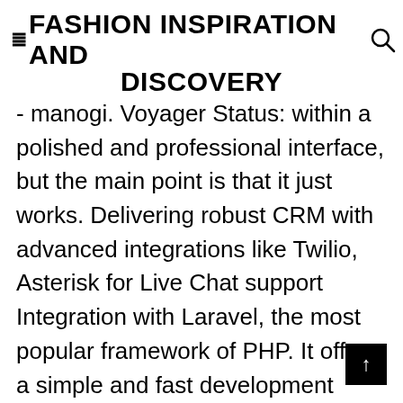FASHION INSPIRATION AND DISCOVERY
- manogi. Voyager Status: within a polished and professional interface, but the main point is that it just works. Delivering robust CRM with advanced integrations like Twilio, Asterisk for Live Chat support Integration with Laravel, the most popular framework of PHP. It offers a simple and fast development environment for developers. You signed in with another tab or window. Millions of developers and companies build, ship, and maintain their software on GitHub — the largest and most advanced development platform in the world. Packages